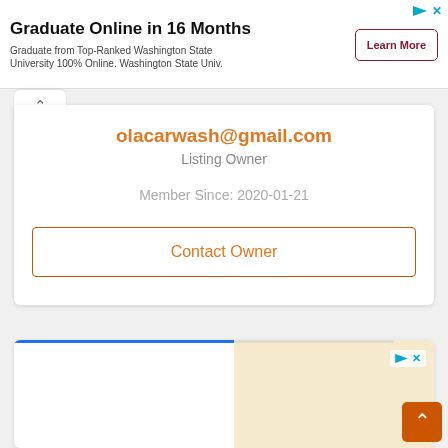[Figure (screenshot): Advertisement banner: 'Graduate Online in 16 Months' with 'Learn More' button, ad icons top right]
olacarwash@gmail.com
Listing Owner
Member Since: 2020-01-21
Contact Owner
[Figure (screenshot): Bottom advertisement area with blue bar, ad icons, and cream-colored background section]